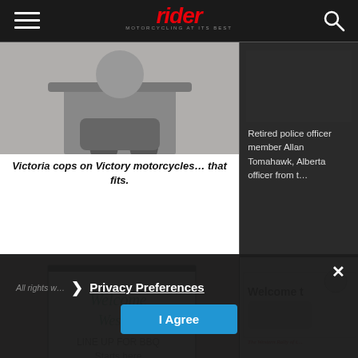rider — MOTORCYCLING AT ITS BEST
[Figure (photo): Black and white photo of motorcycle boots and lower portion of a motorcycle on paved surface]
Victoria cops on Victory motorcycles… that fits.
[Figure (photo): Dark background with partial text about retired police officer member Allan Tomahawk Alberta]
Retired police officer member Allan Tomahawk, Alberta officer from t…
[Figure (photo): Person with blonde hair in ponytail standing in front of whiteboard sign reading Welcome Westoc Line up for BBQ Starts here]
All rights w…
[Figure (photo): Banner sign reading Welcome to The Western Rally of with motorcycle graphic]
Signs welco… p…
Privacy Preferences
I Agree